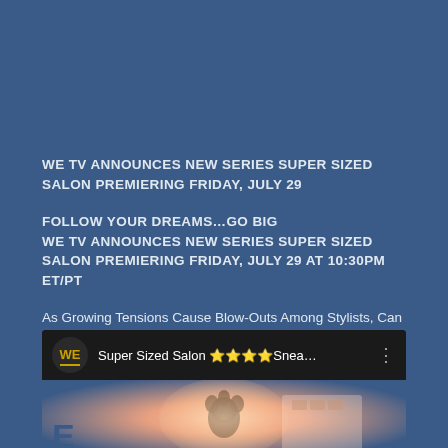WE TV ANNOUNCES NEW SERIES SUPER SIZED SALON PREMIERING FRIDAY, JULY 29
FOLLOW YOUR DREAMS...GO BIG
WE TV ANNOUNCES NEW SERIES SUPER SIZED SALON PREMIERING FRIDAY, JULY 29 AT 10:30PM ET/PT
As Growing Tensions Cause Blow-Outs Among Stylists, Can Babydoll Beauty Couture Salon Come Together To Make Women of All Sizes Feel and Look Beautiful?
[Figure (screenshot): YouTube-style video embed showing 'Super Sized Salon Snea...' with WE TV logo circle on left, title text, and three-dot menu. Below is a thumbnail with a glowing oval light and a figure visible inside a salon setting.]